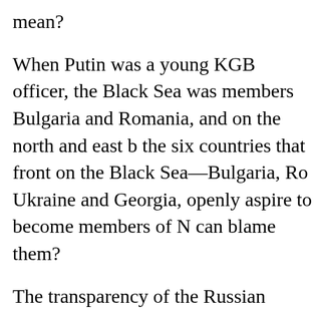mean?
When Putin was a young KGB officer, the Black Sea was members Bulgaria and Romania, and on the north and east b the six countries that front on the Black Sea—Bulgaria, Ro Ukraine and Georgia, openly aspire to become members of N can blame them?
The transparency of the Russian military buildup suggests preparation for an invasion. Putin seems to be saying: Ukrai in that country would cross a red line for Russia. And we will
The record suggests that Putin is not bluffing. We have be Ossetia, a province that had broken free of Georgia in the 1 out, and then invaded Georgia and occupied part of that co Georgian President Mikheil Saakashvili as a friend and Ge Again, in 2014, when a U.S.-backed coup overthrew the annexed Crimea and assisted pro-Russian rebels in the Don